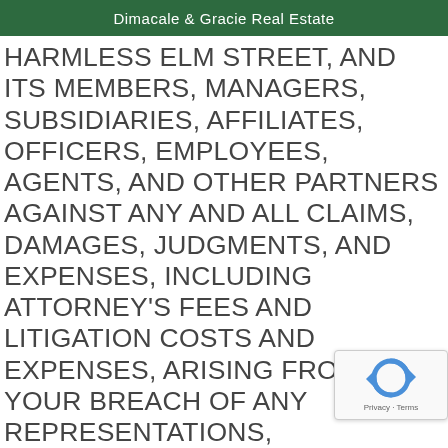Dimacale & Gracie Real Estate
HARMLESS ELM STREET, AND ITS MEMBERS, MANAGERS, SUBSIDIARIES, AFFILIATES, OFFICERS, EMPLOYEES, AGENTS, AND OTHER PARTNERS AGAINST ANY AND ALL CLAIMS, DAMAGES, JUDGMENTS, AND EXPENSES, INCLUDING ATTORNEY'S FEES AND LITIGATION COSTS AND EXPENSES, ARISING FROM YOUR BREACH OF ANY REPRESENTATIONS, WARRANTIES, DUTIES OR OBLIGATIONS MADE OR ASSUMED BY YOU IN THIS AGREEMENT. IN ADDITION TO ANY OTHER LIMITATIONS OR DISCLAIMERS BY ELM STREET IN THIS AGREEMENT, ELM STREET MAKES NO GUARANTEES OR REPRESENTATIONS REGARDING THE SKILLS OR THE QUALITY OF THE SERVICES THAT YOU MAY PROVIDE IF A USER ELECTS TO